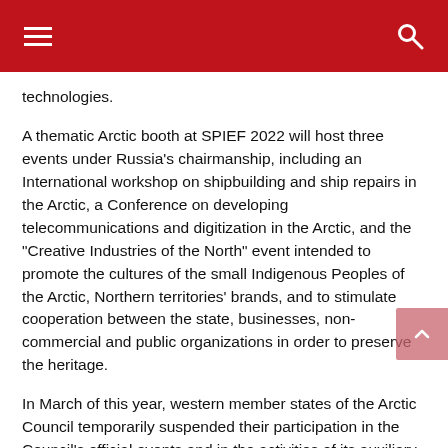technologies.
A thematic Arctic booth at SPIEF 2022 will host three events under Russia's chairmanship, including an International workshop on shipbuilding and ship repairs in the Arctic, a Conference on developing telecommunications and digitization in the Arctic, and the “Creative Industries of the North” event intended to promote the cultures of the small Indigenous Peoples of the Arctic, Northern territories’ brands, and to stimulate cooperation between the state, businesses, non-commercial and public organizations in order to preserve the heritage.
In March of this year, western member states of the Arctic Council temporarily suspended their participation in the Council’s official events and in the activities of its auxiliary bodies
Nikolay Korchunov says that this decision “Will inevitably